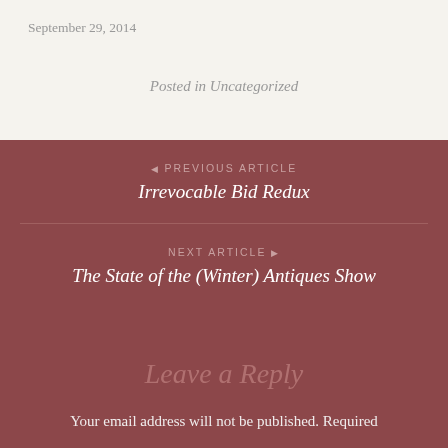September 29, 2014
Posted in Uncategorized
◀ PREVIOUS ARTICLE
Irrevocable Bid Redux
NEXT ARTICLE ▶
The State of the (Winter) Antiques Show
Leave a Reply
Your email address will not be published. Required